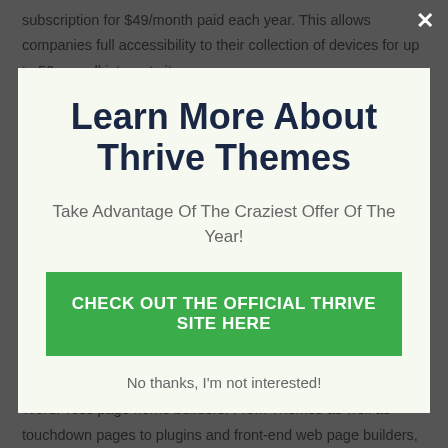subscription for $49/month paid each year. This allows companies full accessibility to their collection of devices for up to 50 overall internet sites.
Learn More About Thrive Themes
Take Advantage Of The Craziest Offer Of The Year!
CHECK OUT THE OFFICIAL THRIVE SITE HERE
No thanks, I'm not interested!
There is a lot of competition on the market when it pertains to WordPress page home builders. From Themes as well as touchdown pages to plugins and front-end web page builders,